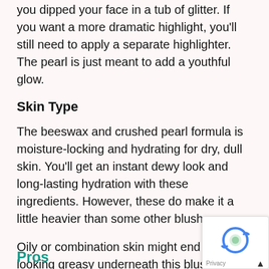a hint of radiance. It's subtle so you won't look like you dipped your face in a tub of glitter. If you want a more dramatic highlight, you'll still need to apply a separate highlighter. The pearl is just meant to add a youthful glow.
Skin Type
The beeswax and crushed pearl formula is moisture-locking and hydrating for dry, dull skin. You'll get an instant dewy look and long-lasting hydration with these ingredients. However, these do make it a little heavier than some other blushes.
Oily or combination skin might end up looking greasy underneath this blush. For this skin type, a lighter weight formula like the one used in this blush from L'Oreal would probably work better.
Pros